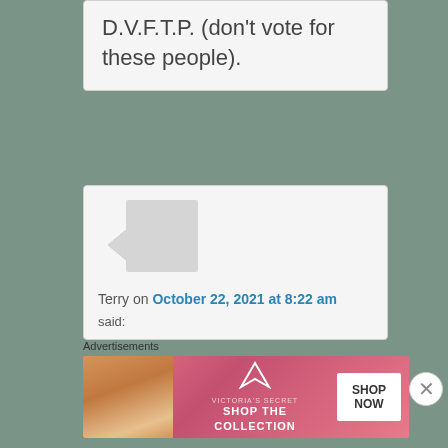D.V.F.T.P. (don't vote for these people).
Terry on October 22, 2021 at 8:22 am said:
Advertisements
[Figure (other): Victoria's Secret advertisement banner with model photo, VS logo, 'SHOP THE COLLECTION' text, and 'SHOP NOW' button]